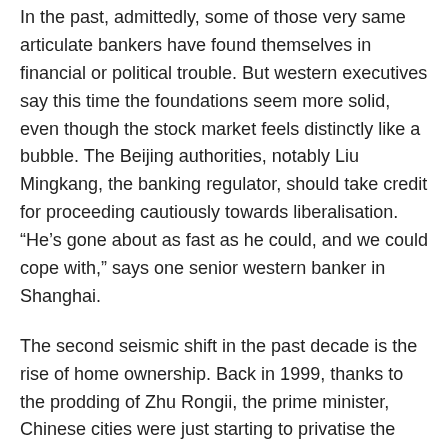In the past, admittedly, some of those very same articulate bankers have found themselves in financial or political trouble. But western executives say this time the foundations seem more solid, even though the stock market feels distinctly like a bubble. The Beijing authorities, notably Liu Mingkang, the banking regulator, should take credit for proceeding cautiously towards liberalisation. “He’s gone about as fast as he could, and we could cope with,” says one senior western banker in Shanghai.
The second seismic shift in the past decade is the rise of home ownership. Back in 1999, thanks to the prodding of Zhu Rongii, the prime minister, Chinese cities were just starting to privatise the housing stock. In most cities, people were entitled to buy their houses at a discount that